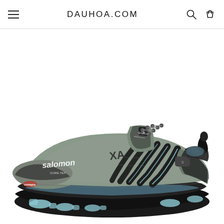DAUHOA.COM
[Figure (photo): Salomon XA Pro 3D GTX trail running shoe in shadow/black/stone blue colorway, shown in lateral/side view. The shoe features grey mesh upper, black rubber sole and overlays, light blue accents on the midsole lugs, and the Salomon brand logo on the side.]